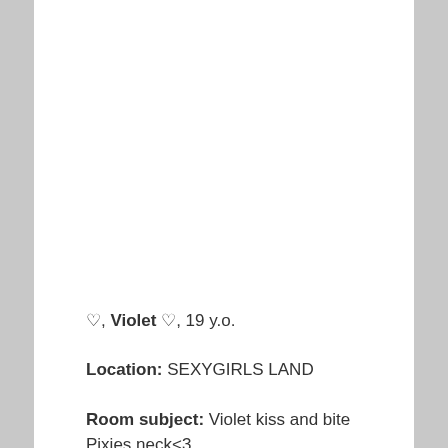♡, Violet ♡, 19 y.o.
Location: SEXYGIRLS LAND
Room subject: Violet kiss and bite Pixies neck<3 lets make her scream hehe! #pool #lesbians